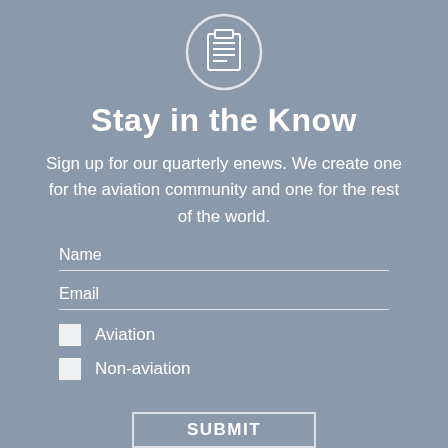[Figure (illustration): Newsletter/document icon: a circle with a document/lines icon inside, white outline on grey background]
Stay in the Know
Sign up for our quarterly enews. We create one for the aviation community and one for the rest of the world.
Name
Email
Aviation
Non-aviation
SUBMIT